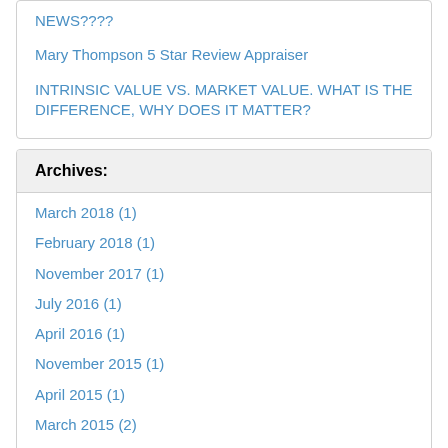NEWS????
Mary Thompson 5 Star Review Appraiser
INTRINSIC VALUE VS. MARKET VALUE. WHAT IS THE DIFFERENCE, WHY DOES IT MATTER?
Archives:
March 2018 (1)
February 2018 (1)
November 2017 (1)
July 2016 (1)
April 2016 (1)
November 2015 (1)
April 2015 (1)
March 2015 (2)
October 2014 (1)
April 2014 (2)